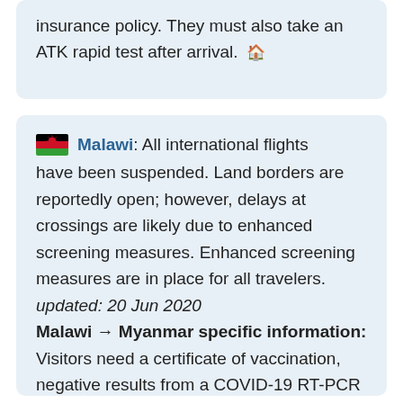insurance policy. They must also take an ATK rapid test after arrival. 🏠
Malawi: All international flights have been suspended. Land borders are reportedly open; however, delays at crossings are likely due to enhanced screening measures. Enhanced screening measures are in place for all travelers. updated: 20 Jun 2020 Malawi → Myanmar specific information: Visitors need a certificate of vaccination, negative results from a COVID-19 RT-PCR test taken shortly before their flight, and a travel insurance policy. They must also take an ATK rapid test after arrival. 🏠